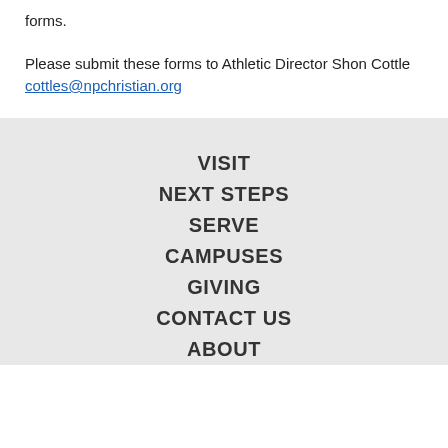forms.
Please submit these forms to Athletic Director Shon Cottle cottles@npchristian.org
VISIT
NEXT STEPS
SERVE
CAMPUSES
GIVING
CONTACT US
ABOUT